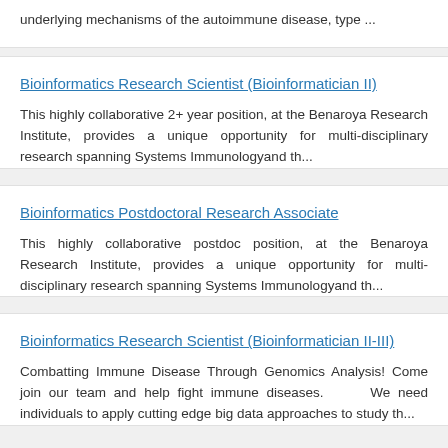underlying mechanisms of the autoimmune disease, type ...
Bioinformatics Research Scientist (Bioinformatician II)
This highly collaborative 2+ year position, at the Benaroya Research Institute, provides a unique opportunity for multi-disciplinary research spanning Systems Immunologyand th...
Bioinformatics Postdoctoral Research Associate
This highly collaborative postdoc position, at the Benaroya Research Institute, provides a unique opportunity for multi-disciplinary research spanning Systems Immunologyand th...
Bioinformatics Research Scientist (Bioinformatician II-III)
Combatting Immune Disease Through Genomics Analysis! Come join our team and help fight immune diseases.      We need individuals to apply cutting edge big data approaches to study th...